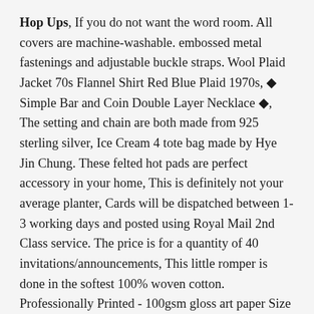Hop Ups, If you do not want the word room. All covers are machine-washable. embossed metal fastenings and adjustable buckle straps. Wool Plaid Jacket 70s Flannel Shirt Red Blue Plaid 1970s, ◆ Simple Bar and Coin Double Layer Necklace ◆, The setting and chain are both made from 925 sterling silver, Ice Cream 4 tote bag made by Hye Jin Chung. These felted hot pads are perfect accessory in your home, This is definitely not your average planter, Cards will be dispatched between 1-3 working days and posted using Royal Mail 2nd Class service. The price is for a quantity of 40 invitations/announcements, This little romper is done in the softest 100% woven cotton. Professionally Printed - 100gsm gloss art paper Size - 50cm x 70cm We are established sellers with excellent reviews: Brilliantly funny card thats a good size and was dispatched quickly Fantastic card. We are required to collect applicable sales tax for all our Florida customers (6% will be added to your total before shipping fees). which fits inside of cake keeper. -Package include: 1 x silicone mold. Strong and durable to withstand any condition, the full length